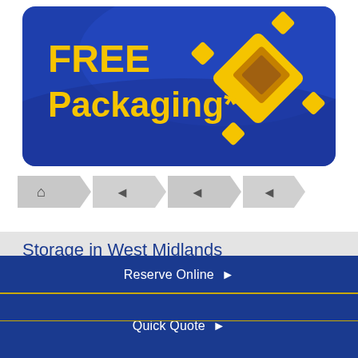[Figure (illustration): Blue banner with rounded corners showing 'FREE Packaging*' in bold yellow text on the left and a yellow cardboard box logo/icon on the right, with a wave design in the background]
[Figure (infographic): Breadcrumb navigation bar with grey chevron/arrow shapes: home icon followed by three back-arrow chevrons]
Storage in West Midlands
Home
Self Storage Services
Storage Unit Sizes
Reserve Online ▶
Quick Quote ▶